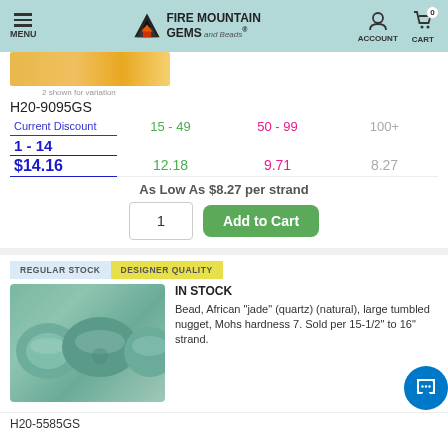MENU | FIRE MOUNTAIN GEMS and Beads | ACCOUNT | CART 0
[Figure (photo): Yellow/amber colored beads or stones shown in a strip]
2 shown for variation
H20-9095GS
| Current Discount | 15 - 49 | 50 - 99 | 100+ |
| --- | --- | --- | --- |
| 1 - 14 | 15 - 49 | 50 - 99 | 100+ |
| $14.16 | 12.18 | 9.71 | 8.27 |
As Low As $8.27 per strand
1   Add to Cart
REGULAR STOCK   DESIGNER QUALITY
IN STOCK
[Figure (photo): Blue-green African jade (quartz) tumbled nugget beads shown in a row]
Bead, African "jade" (quartz) (natural), large tumbled nugget, Mohs hardness 7. Sold per 15-1/2" to 16" strand.
H20-5585GS